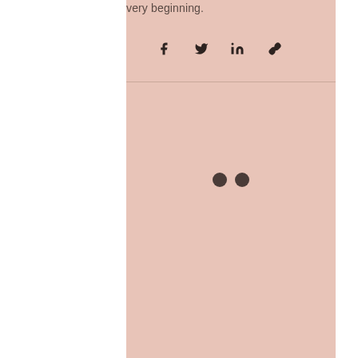very beginning.
[Figure (other): Social media share icons: Facebook (f), Twitter (bird), LinkedIn (in), and a link/chain icon]
[Figure (other): Two dark loading dots (Flickr-style loader) centered on the page]